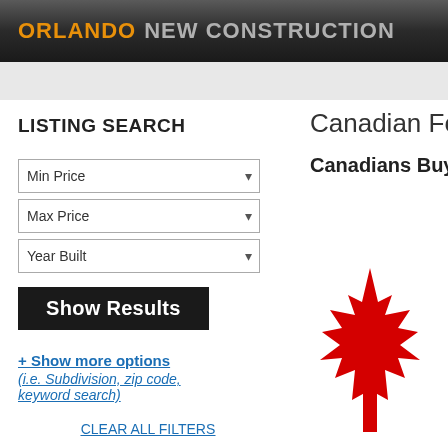ORLANDO NEW CONSTRUCTION
LISTING SEARCH
Min Price
Max Price
Year Built
Show Results
+ Show more options (i.e. Subdivision, zip code, keyword search)
CLEAR ALL FILTERS
Save Search For Email Alerts
Canadian Foreign Na
Canadians Buying US Real Es
[Figure (illustration): Red Canadian maple leaf logo on white background]